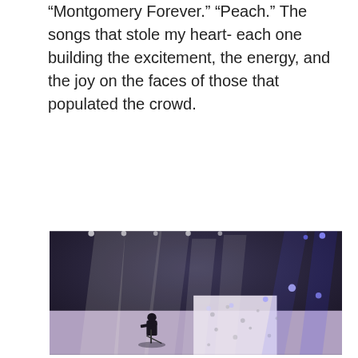“Montgomery Forever.” “Peach.” The songs that stole my heart- each one building the excitement, the energy, and the joy on the faces of those that populated the crowd.
[Figure (photo): Concert photo showing a performer on stage playing guitar at a microphone stand, with multiple white and blue stage spotlights beaming down from above. A white backdrop with a dark pattern is visible behind the performer. The venue ceiling and lighting rigs are visible in the dark upper portion of the image.]